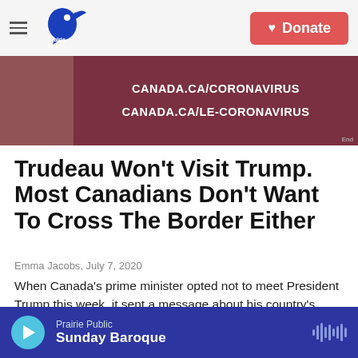Prairie Public — Donate
[Figure (photo): Photo showing a sign with text CANADA.CA/CORONAVIRUS and CANADA.CA/LE-CORONAVIRUS on a dark red/maroon background]
Trudeau Won't Visit Trump. Most Canadians Don't Want To Cross The Border Either
Emma Jacobs, July 7, 2020
When Canada's prime minister opted not to meet President Trump this week, it sent a message about his country's mood: Most of his fellow citizens want to keep the border closed over coronavirus fears.
Prairie Public — Sunday Baroque